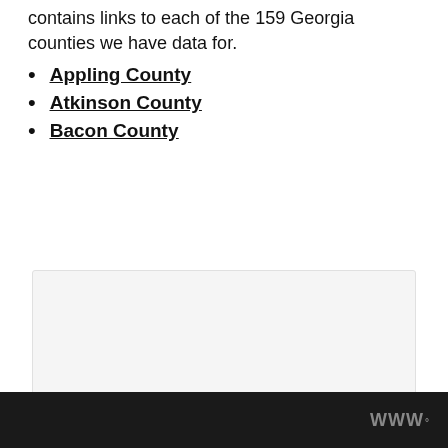contains links to each of the 159 Georgia counties we have data for.
Appling County
Atkinson County
Bacon County
[Figure (other): Embedded content placeholder box with three small square dots at the bottom center, light gray background]